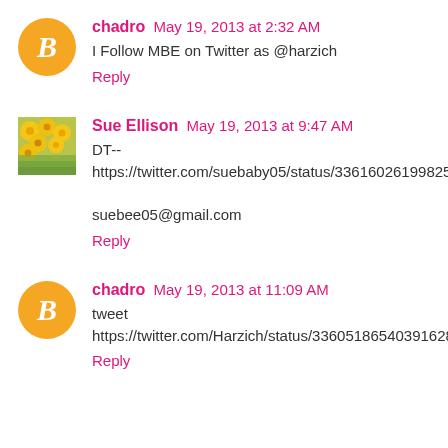chadro May 19, 2013 at 2:32 AM
I Follow MBE on Twitter as @harzich
Reply
Sue Ellison May 19, 2013 at 9:47 AM
DT--
https://twitter.com/suebaby05/status/336160261998256128
suebee05@gmail.com
Reply
chadro May 19, 2013 at 11:09 AM
tweet
https://twitter.com/Harzich/status/336051865403916288
Reply